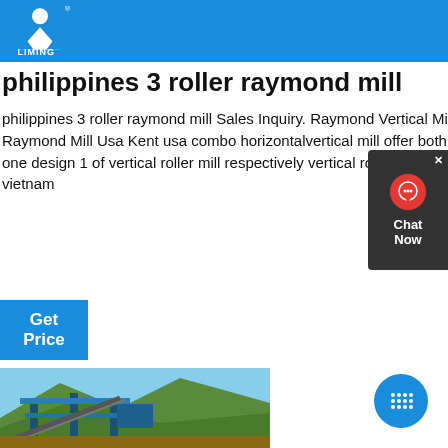LIMING
philippines 3 roller raymond mill
philippines 3 roller raymond mill Sales Inquiry. Raymond Vertical Mills In Philippines FLATI Mining machine. Vertical Raymond Mill Usa Kent usa combo horizontalvertical mill offer both the capabilities of a vertical mill and a horizontal mill in one design 1 of vertical roller mill respectively vertical roller mill products are most popular in philippines canada and vietnam
Get Price
[Figure (photo): Industrial mining/milling equipment with conveyor belts and machinery set against a mountainside landscape]
[Figure (other): Blue circular button with grid/dots icon in bottom right corner]